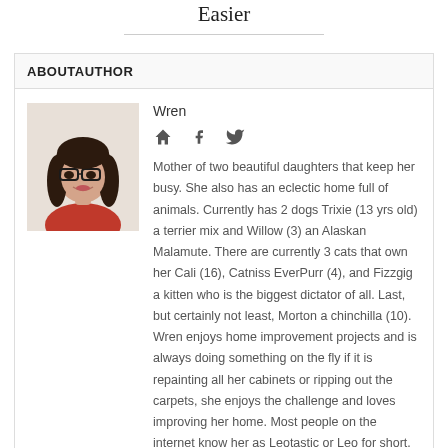Easier
ABOUTAUTHOR
[Figure (photo): Headshot photo of author Wren, a woman with dark hair and glasses, wearing a red top, smiling.]
Wren
Mother of two beautiful daughters that keep her busy. She also has an eclectic home full of animals. Currently has 2 dogs Trixie (13 yrs old) a terrier mix and Willow (3) an Alaskan Malamute. There are currently 3 cats that own her Cali (16), Catniss EverPurr (4), and Fizzgig a kitten who is the biggest dictator of all. Last, but certainly not least, Morton a chinchilla (10). Wren enjoys home improvement projects and is always doing something on the fly if it is repainting all her cabinets or ripping out the carpets, she enjoys the challenge and loves improving her home. Most people on the internet know her as Leotastic or Leo for short.